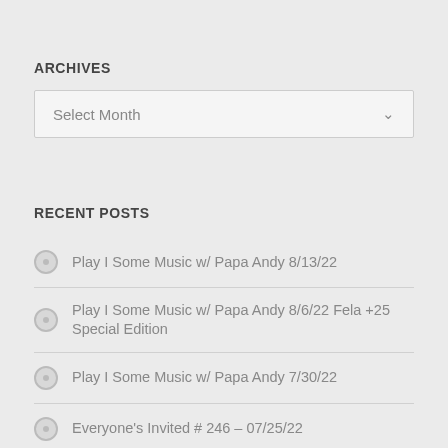ARCHIVES
Select Month
RECENT POSTS
Play I Some Music w/ Papa Andy 8/13/22
Play I Some Music w/ Papa Andy 8/6/22 Fela +25 Special Edition
Play I Some Music w/ Papa Andy 7/30/22
Everyone's Invited # 246 – 07/25/22
Play I Some Music w/ Papa Andy 7/23/22